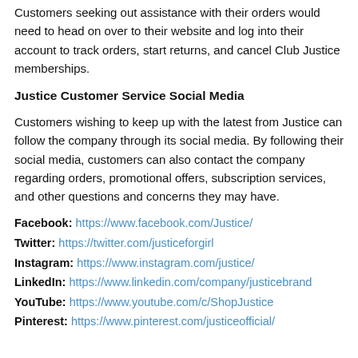Customers seeking out assistance with their orders would need to head on over to their website and log into their account to track orders, start returns, and cancel Club Justice memberships.
Justice Customer Service Social Media
Customers wishing to keep up with the latest from Justice can follow the company through its social media. By following their social media, customers can also contact the company regarding orders, promotional offers, subscription services, and other questions and concerns they may have.
Facebook: https://www.facebook.com/Justice/
Twitter: https://twitter.com/justiceforgirl
Instagram: https://www.instagram.com/justice/
LinkedIn: https://www.linkedin.com/company/justicebrand
YouTube: https://www.youtube.com/c/ShopJustice
Pinterest: https://www.pinterest.com/justiceofficial/